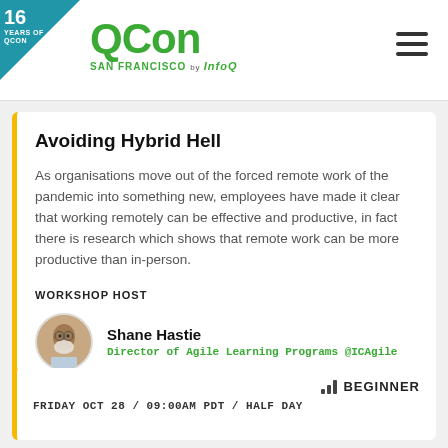[Figure (logo): QCon San Francisco by InfoQ logo with 16 Years of QCon corner badge and hamburger menu icon]
Avoiding Hybrid Hell
As organisations move out of the forced remote work of the pandemic into something new, employees have made it clear that working remotely can be effective and productive, in fact there is research which shows that remote work can be more productive than in-person.
WORKSHOP HOST
Shane Hastie
Director of Agile Learning Programs @ICAgile
BEGINNER
FRIDAY OCT 28 / 09:00AM PDT / HALF DAY